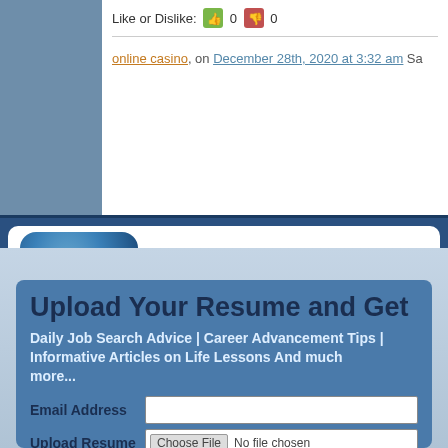Like or Dislike: 0 0
online casino, on December 28th, 2020 at 3:32 am Sa
PROFESSIONAL ADVI
Upload Your Resume and Get
Daily Job Search Advice | Career Advancement Tips | Informative Articles on Life Lessons And much more...
Email Address
Upload Resume   Choose File  No file chosen